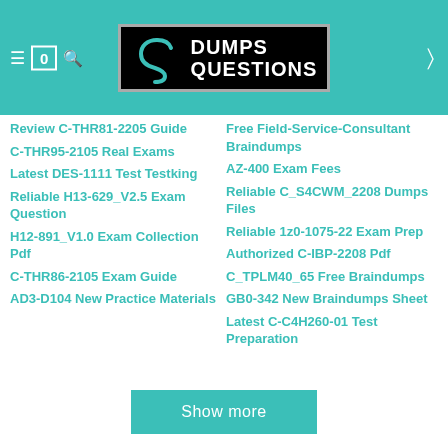Dumps Questions
Review C-THR81-2205 Guide
Free Field-Service-Consultant Braindumps
C-THR95-2105 Real Exams
AZ-400 Exam Fees
Latest DES-1111 Test Testking
Reliable C_S4CWM_2208 Dumps Files
Reliable H13-629_V2.5 Exam Question
Reliable 1z0-1075-22 Exam Prep
H12-891_V1.0 Exam Collection Pdf
Authorized C-IBP-2208 Pdf
C-THR86-2105 Exam Guide
C_TPLM40_65 Free Braindumps
AD3-D104 New Practice Materials
GB0-342 New Braindumps Sheet
Latest C-C4H260-01 Test Preparation